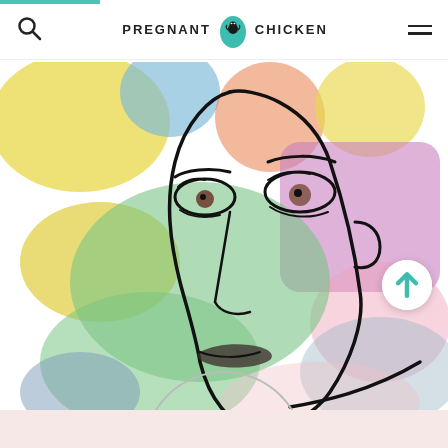PREGNANT CHICKEN
[Figure (illustration): Watercolor painting of an abstract face with bold black outline, featuring expressive eyes and lips. Background is multi-colored watercolor washes in yellow, green, blue, purple/pink, and orange. A circular element (belly) is partially visible at the bottom. A scroll-to-top button with a teal upward arrow overlays the lower right of the image.]